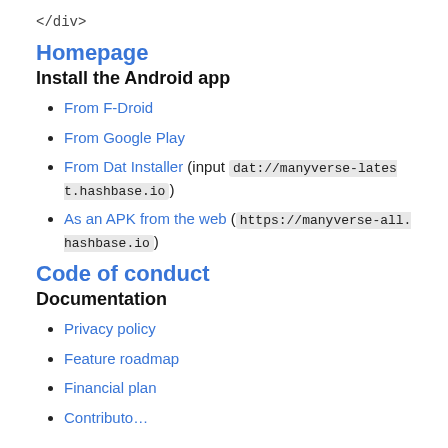</div>
Homepage
Install the Android app
From F-Droid
From Google Play
From Dat Installer (input dat://manyverse-latest.hashbase.io)
As an APK from the web (https://manyverse-all.hashbase.io)
Code of conduct
Documentation
Privacy policy
Feature roadmap
Financial plan
Contributo…